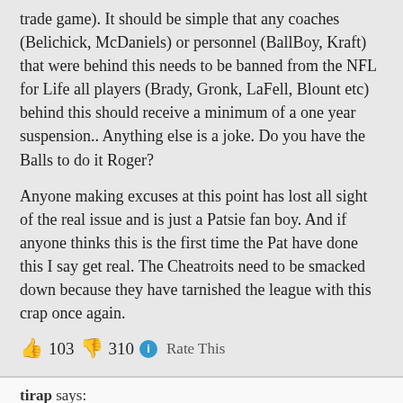trade game). It should be simple that any coaches (Belichick, McDaniels) or personnel (BallBoy, Kraft) that were behind this needs to be banned from the NFL for Life all players (Brady, Gronk, LaFell, Blount etc) behind this should receive a minimum of a one year suspension.. Anything else is a joke. Do you have the Balls to do it Roger?
Anyone making excuses at this point has lost all sight of the real issue and is just a Patsie fan boy. And if anyone thinks this is the first time the Pat have done this I say get real. The Cheatroits need to be smacked down because they have tarnished the league with this crap once again.
👍 103 👎 310 ℹ Rate This
tirap says:
January 21, 2015 at 8:59 am
The eleven deflated balls were detected at halftime. Did the officials corrected the problem for the second half or did they remained deflated?